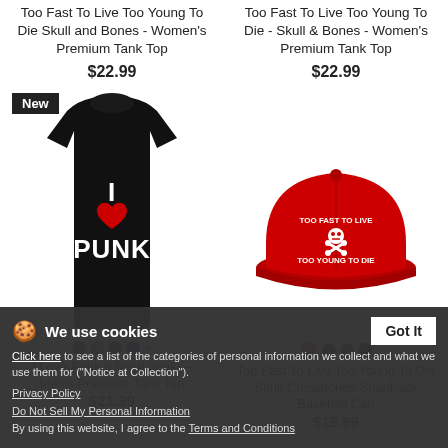Too Fast To Live Too Young To Die Skull and Bones - Women's Premium Tank Top
$22.99
Too Fast To Live Too Young To Die - Skull & Bones - Women's Premium Tank Top
$22.99
[Figure (photo): Black tank top with 'I Love Punk' graphic (heart symbol in red)]
[Figure (photo): Red snapback baseball cap with 'Too Fast To Live Too Young To Die' skull and crossbones logo]
I Love Punk (i heart punk) - Men's Premium Tank Top
$21.99
Too Fast To Live Too Young To Die Skull Crossbones Snapback Baseball Cap
$19.99
We use cookies
Click here to see a list of the categories of personal information we collect and what we use them for ("Notice at Collection").
Privacy Policy
Do Not Sell My Personal Information
By using this website, I agree to the Terms and Conditions